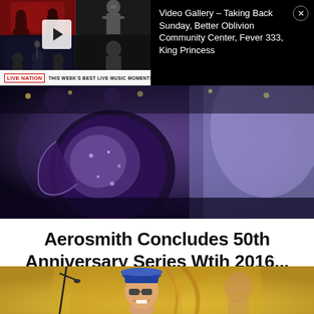[Figure (screenshot): Video gallery overlay showing music artist thumbnails on left with play button, Live Nation badge and text 'THIS WEEK'S BEST LIVE MUSIC MOMENTS!' at bottom, and video title text on black background on right with close button]
Video Gallery – Taking Back Sunday, Better Oblivion Community Center, Fever 333, King Princess
[Figure (photo): Close-up concert photo showing colorful guitar and performer against dark background with stage lighting]
Aerosmith Concludes 50th Anniversary Series Wtih 2016...
[Figure (photo): Photo of elderly performer wearing blue hat and sunglasses, smiling, with microphone stand, in front of ornate gold backdrop]